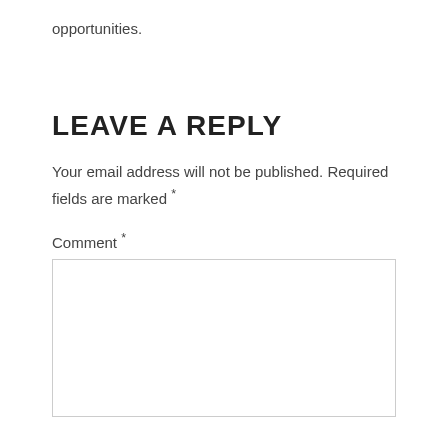opportunities.
LEAVE A REPLY
Your email address will not be published. Required fields are marked *
Comment *